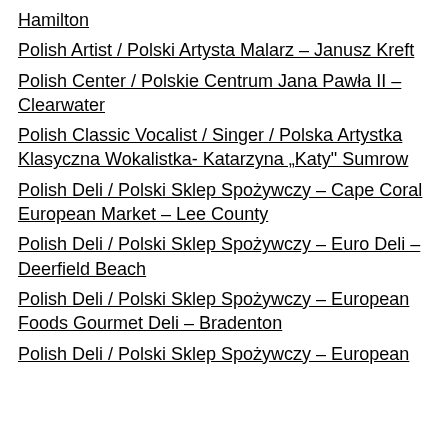Hamilton
Polish Artist / Polski Artysta Malarz – Janusz Kreft
Polish Center / Polskie Centrum Jana Pawła II – Clearwater
Polish Classic Vocalist / Singer / Polska Artystka Klasyczna Wokalistka- Katarzyna „Katy" Sumrow
Polish Deli / Polski Sklep Spożywczy – Cape Coral European Market – Lee County
Polish Deli / Polski Sklep Spożywczy – Euro Deli – Deerfield Beach
Polish Deli / Polski Sklep Spożywczy – European Foods Gourmet Deli – Bradenton
Polish Deli / Polski Sklep Spożywczy – European